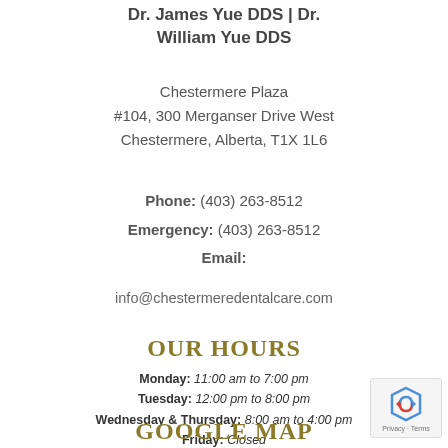Dr. James Yue DDS | Dr. William Yue DDS
Chestermere Plaza
#104, 300 Merganser Drive West
Chestermere, Alberta, T1X 1L6
Phone: (403) 263-8512
Emergency: (403) 263-8512
Email:
info@chestermeredentalcare.com
OUR HOURS
Monday: 11:00 am to 7:00 pm
Tuesday: 12:00 pm to 8:00 pm
Wednesday & Thursday: 8:00 am to 4:00 pm
Friday: Closed
Saturday by appointment only
Sunday & Statutory Holidays: Closed
GOOGLE MAP